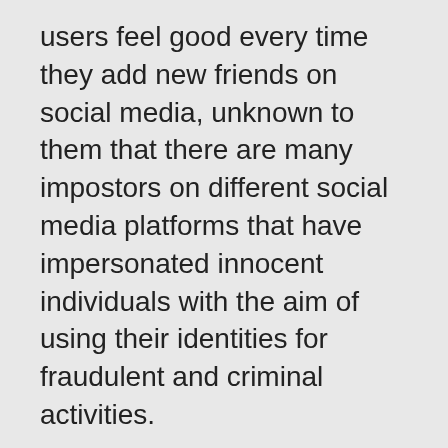users feel good every time they add new friends on social media, unknown to them that there are many impostors on different social media platforms that have impersonated innocent individuals with the aim of using their identities for fraudulent and criminal activities.
Onadipe, an advocate of internet safety who has been counseling and educating the public on internet safety for several years said we must be very careful with the kind of people we add as friends on social media.
ALSO SEE: Hijab Judgement – RIFA Laud Supreme Court, Caution Extremists
He said: “Don’t be in a rush to add anyone as your friend on social media no matter how good, interesting or attractive the person’s profile is. You